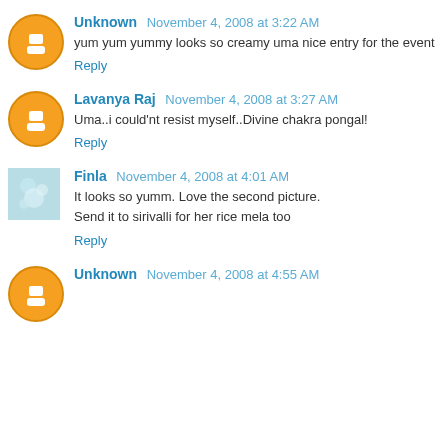Unknown  November 4, 2008 at 3:22 AM
yum yum yummy looks so creamy uma nice entry for the event
Reply
Lavanya Raj  November 4, 2008 at 3:27 AM
Uma..i could'nt resist myself..Divine chakra pongal!
Reply
Finla  November 4, 2008 at 4:01 AM
It looks so yumm. Love the second picture.
Send it to sirivalli for her rice mela too
Reply
Unknown  November 4, 2008 at 4:55 AM